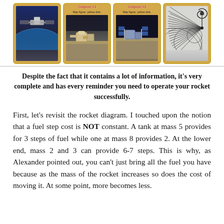[Figure (illustration): Four game cards in a row: first card shows a space station against a dark blue Earth/space background with no label; second card labeled 'Outpost #1' with subtitle 'Map figure: yellow disk' showing a lunar outpost scene; third card labeled 'Outpost #2' with subtitle 'Map figure: yellow disk' showing a lunar base with blue solar panels; fourth card shows a radar/antenna pattern on a light grey background.]
Despite the fact that it contains a lot of information, it’s very complete and has every reminder you need to operate your rocket successfully.
First, let’s revisit the rocket diagram. I touched upon the notion that a fuel step cost is NOT constant. A tank at mass 5 provides for 3 steps of fuel while one at mass 8 provides 2. At the lower end, mass 2 and 3 can provide 6-7 steps. This is why, as Alexander pointed out, you can’t just bring all the fuel you have because as the mass of the rocket increases so does the cost of moving it. At some point, more becomes less.